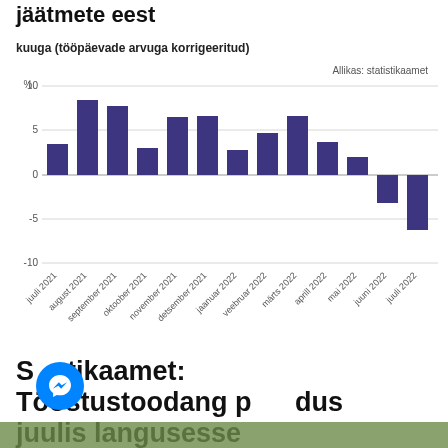tööstustoodangu muutus eelmise aastakuuga võrreldes, ilma hooajaliste ja jäätmete eest
kuuga (tööpäevade arvuga korrigeeritud)
[Figure (bar-chart): kuuga (tööpäevade arvuga korrigeeritud)]
Statistikaamet: Tööstustoodang pöördus juulis langusesse